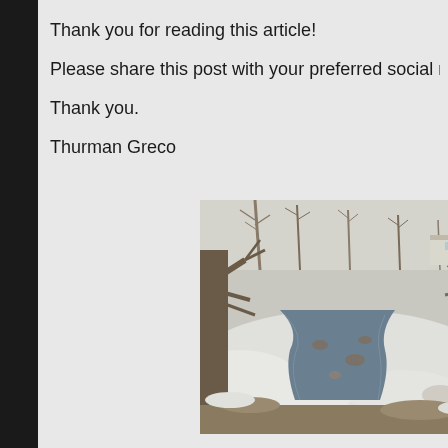Thank you for reading this article!
Please share this post with your preferred social media ne
Thank you.
Thurman Greco
[Figure (photo): Winter outdoor scene showing a creek or stream with snow-covered banks, bare deciduous trees in the foreground, rocks in the water, and a building visible in the background.]